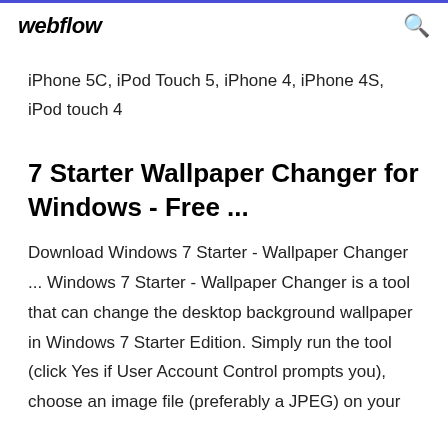webflow
iPhone 5C, iPod Touch 5, iPhone 4, iPhone 4S, iPod touch 4
7 Starter Wallpaper Changer for Windows - Free ...
Download Windows 7 Starter - Wallpaper Changer ... Windows 7 Starter - Wallpaper Changer is a tool that can change the desktop background wallpaper in Windows 7 Starter Edition. Simply run the tool (click Yes if User Account Control prompts you), choose an image file (preferably a JPEG) on your